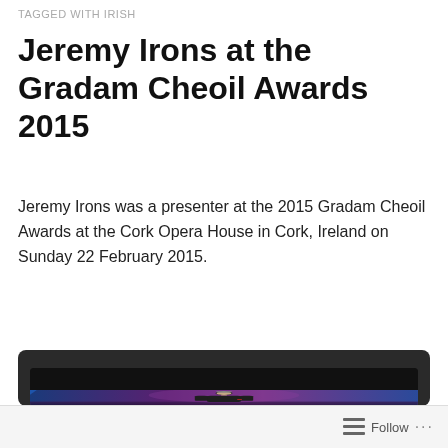TAGGED WITH IRISH
Jeremy Irons at the Gradam Cheoil Awards 2015
Jeremy Irons was a presenter at the 2015 Gradam Cheoil Awards at the Cork Opera House in Cork, Ireland on Sunday 22 February 2015.
[Figure (photo): Video frame showing Jeremy Irons standing on a stage with a purple/blue lit background, wearing a dark suit, at the Gradam Cheoil Awards ceremony.]
Follow